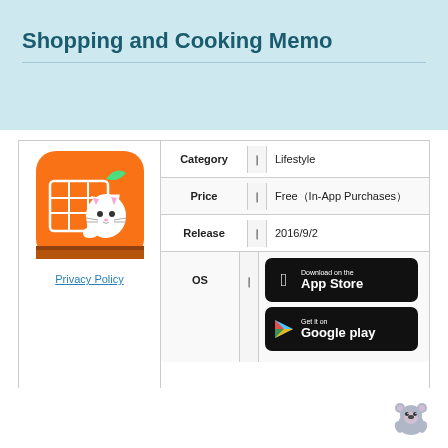Shopping and Cooking Memo
[Figure (illustration): App icon showing orange rounded square with MEMO text and shopping cart with cat character]
Privacy Policy
|  |  |  |
| --- | --- | --- |
| Category | ❙ | Lifestyle |
| Price | ❙ | Free（In-App Purchases） |
| Release | ❙ | 2016/9/2 |
| OS | ❙ | Download on the App Store / Get it on Google play |
[Figure (logo): Koala emoji icon in bottom right corner]